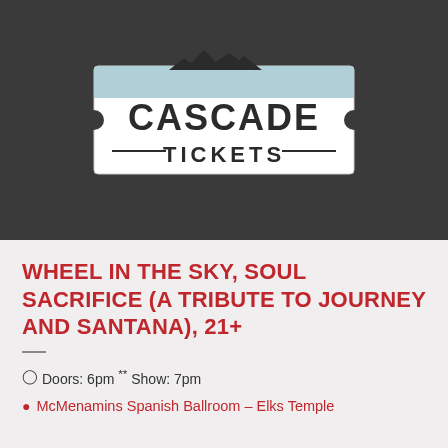[Figure (logo): Cascade Tickets logo — white ticket-shaped rectangle with dark mountain silhouette at top, bold text CASCADE TICKETS, on dark charcoal background]
WHEEL IN THE SKY, SOUL SACRIFICE (A TRIBUTE TO JOURNEY AND SANTANA), 21+
Doors: 6pm ** Show: 7pm
McMenamins Spanish Ballroom – Elks Temple